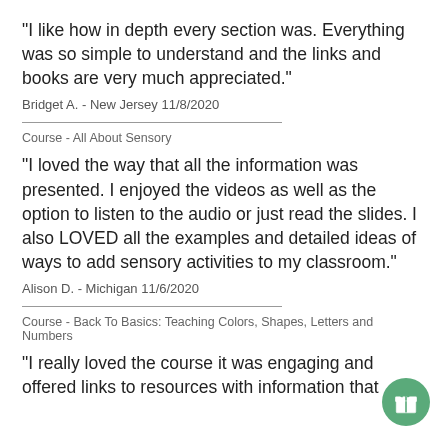"I like how in depth every section was. Everything was so simple to understand and the links and books are very much appreciated."
Bridget A. - New Jersey 11/8/2020
Course - All About Sensory
"I loved the way that all the information was presented. I enjoyed the videos as well as the option to listen to the audio or just read the slides. I also LOVED all the examples and detailed ideas of ways to add sensory activities to my classroom."
Alison D. - Michigan 11/6/2020
Course - Back To Basics: Teaching Colors, Shapes, Letters and Numbers
"I really loved the course it was engaging and offered links to resources with information that